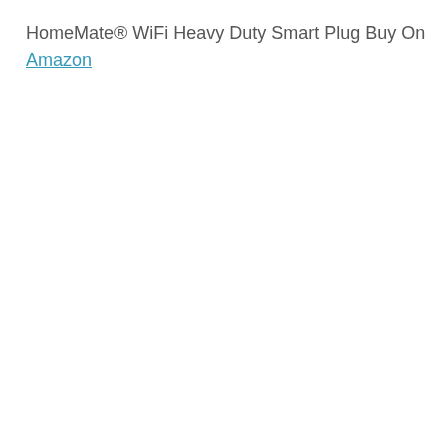HomeMate® WiFi Heavy Duty Smart Plug Buy On Amazon